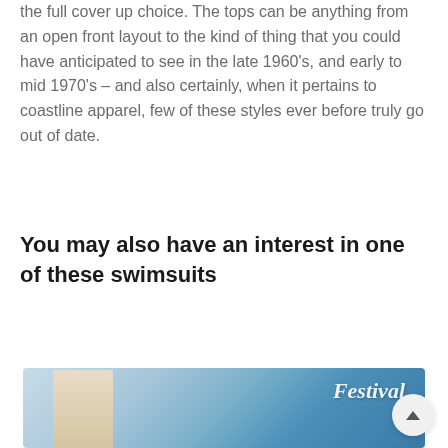the full cover up choice. The tops can be anything from an open front layout to the kind of thing that you could have anticipated to see in the late 1960's, and early to mid 1970's – and also certainly, when it pertains to coastline apparel, few of these styles ever before truly go out of date.
You may also have an interest in one of these swimsuits
[Figure (photo): Photo of a woman in a white swimsuit cover-up next to a blue Festival branded item/backdrop]